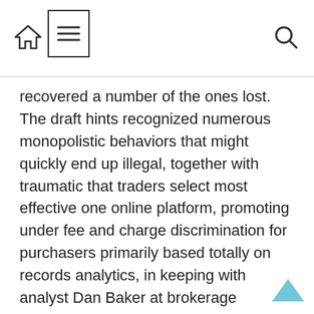[Navigation bar with home icon, menu icon, and search icon]
recovered a number of the ones lost. The draft hints recognized numerous monopolistic behaviors that might quickly end up illegal, together with traumatic that traders select most effective one online platform, promoting under fee and charge discrimination for purchasers primarily based totally on records analytics, in keeping with analyst Dan Baker at brokerage organization Morningstar.
“The monetary consequences will rely upon next enforcement however we agree with